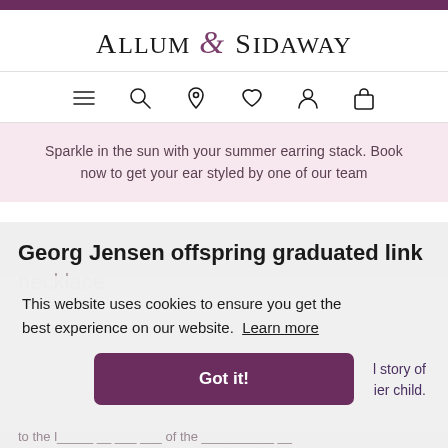Allum & Sidaway
[Figure (other): Navigation icon bar with hamburger menu, search, location pin, heart/wishlist, person/account, and shopping bag icons]
Sparkle in the sun with your summer earring stack. Book now to get your ear styled by one of our team
Georg Jensen offspring graduated link necklace
This website uses cookies to ensure you get the best experience on our website. Learn more
Got it!
l story of ier child.